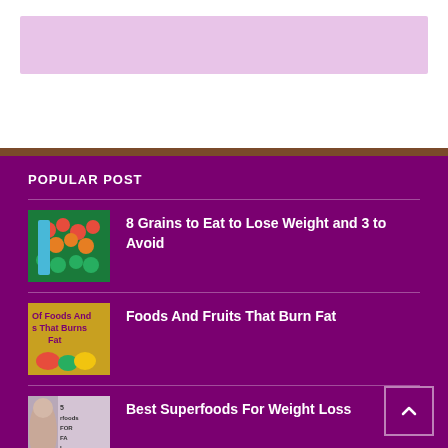[Figure (other): Pink/lavender advertisement banner placeholder at top of page]
POPULAR POST
[Figure (photo): Thumbnail image of colorful grains and vegetables]
8 Grains to Eat to Lose Weight and 3 to Avoid
[Figure (photo): Thumbnail image with text: Of Foods And s That Burns Fat]
Foods And Fruits That Burn Fat
[Figure (photo): Thumbnail image of woman with superfoods text]
Best Superfoods For Weight Loss